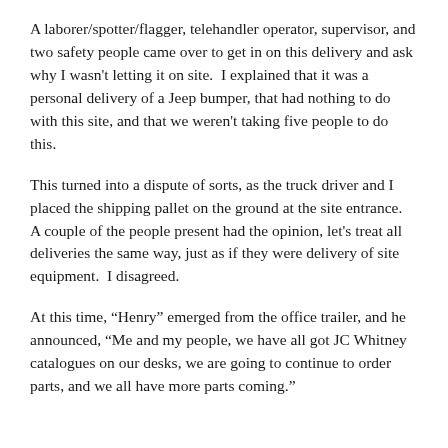A laborer/spotter/flagger, telehandler operator, supervisor, and two safety people came over to get in on this delivery and ask why I wasn't letting it on site.  I explained that it was a personal delivery of a Jeep bumper, that had nothing to do with this site, and that we weren't taking five people to do this.
This turned into a dispute of sorts, as the truck driver and I placed the shipping pallet on the ground at the site entrance.  A couple of the people present had the opinion, let's treat all deliveries the same way, just as if they were delivery of site equipment.  I disagreed.
At this time, “Henry” emerged from the office trailer, and he announced, “Me and my people, we have all got JC Whitney catalogues on our desks, we are going to continue to order parts, and we all have more parts coming.”